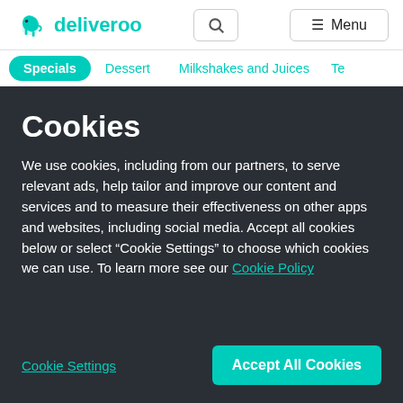deliveroo
Specials  Dessert  Milkshakes and Juices  Te
Cookies
We use cookies, including from our partners, to serve relevant ads, help tailor and improve our content and services and to measure their effectiveness on other apps and websites, including social media. Accept all cookies below or select “Cookie Settings” to choose which cookies we can use. To learn more see our Cookie Policy
Cookie Settings
Accept All Cookies